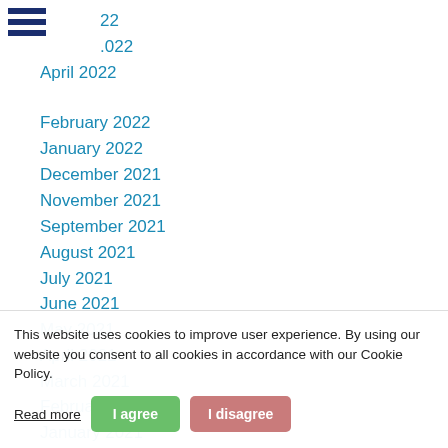[Figure (other): Hamburger menu icon with three dark navy horizontal bars]
22
.022
April 2022
February 2022
January 2022
December 2021
November 2021
September 2021
August 2021
July 2021
June 2021
May 2021
April 2021
March 2021
February 2021
January 2021
December 2020
November 2020
September 2020
August 2020
July 2020
This website uses cookies to improve user experience. By using our website you consent to all cookies in accordance with our Cookie Policy.
Read more
I agree
I disagree